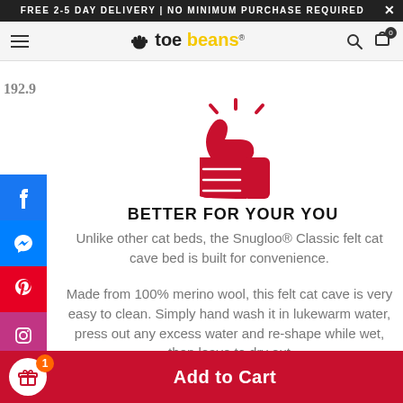FREE 2-5 DAY DELIVERY | NO MINIMUM PURCHASE REQUIRED
[Figure (logo): toe beans logo with paw print icon and yellow 'beans' text]
192.9
[Figure (illustration): Red thumbs up icon with sparkle lines]
BETTER FOR YOUR YOU
Unlike other cat beds, the Snugloo® Classic felt cat cave bed is built for convenience.
Made from 100% merino wool, this felt cat cave is very easy to clean. Simply hand wash it in lukewarm water, press out any excess water and re-shape while wet, then leave to dry out